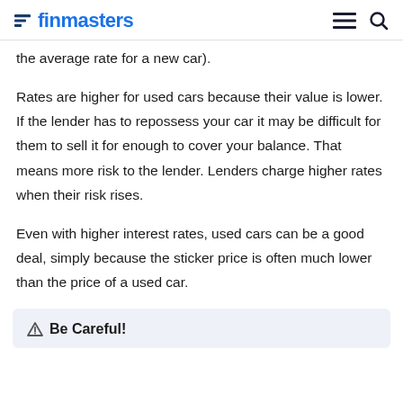finmasters
the average rate for a new car).
Rates are higher for used cars because their value is lower. If the lender has to repossess your car it may be difficult for them to sell it for enough to cover your balance. That means more risk to the lender. Lenders charge higher rates when their risk rises.
Even with higher interest rates, used cars can be a good deal, simply because the sticker price is often much lower than the price of a used car.
⚠ Be Careful!